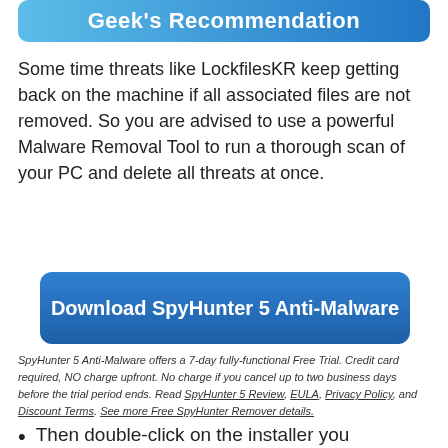Geek's Recommendation
Some time threats like LockfilesKR keep getting back on the machine if all associated files are not removed. So you are advised to use a powerful Malware Removal Tool to run a thorough scan of your PC and delete all threats at once.
[Figure (other): Blue rounded button labeled 'Download SpyHunter 5 Anti-Malware']
SpyHunter 5 Anti-Malware offers a 7-day fully-functional Free Trial. Credit card required, NO charge upfront. No charge if you cancel up to two business days before the trial period ends. Read SpyHunter 5 Review, EULA, Privacy Policy, and Discount Terms. See more Free SpyHunter Remover details.
Then double-click on the installer you